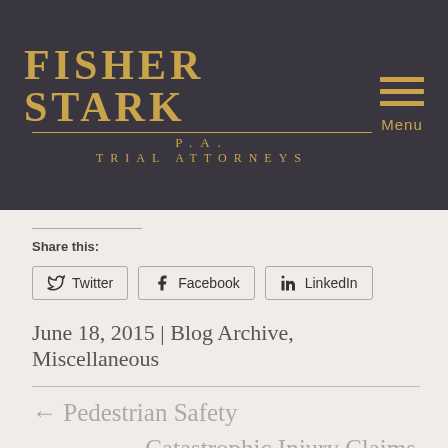Fisher Stark P.A. Trial Attorneys | Menu
Share this:
Twitter  Facebook  LinkedIn
June 18, 2015 | Blog Archive, Miscellaneous
← Pedestrian Safety
Catastrophic Injury Claims